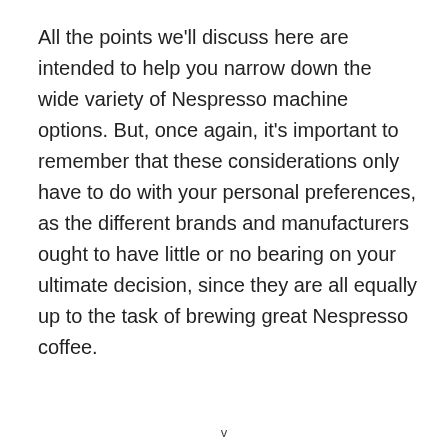All the points we'll discuss here are intended to help you narrow down the wide variety of Nespresso machine options. But, once again, it's important to remember that these considerations only have to do with your personal preferences, as the different brands and manufacturers ought to have little or no bearing on your ultimate decision, since they are all equally up to the task of brewing great Nespresso coffee.
v